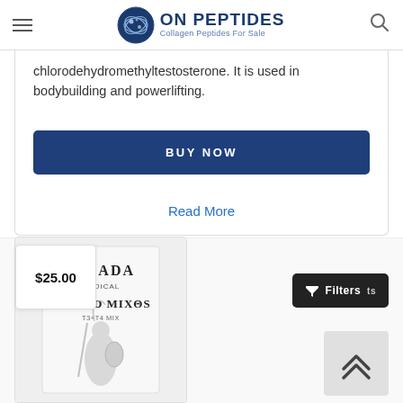ON PEPTIDES - Collagen Peptides For Sale
chlorodehydromethyltestosterone. It is used in bodybuilding and powerlifting.
BUY NOW
Read More
[Figure (screenshot): Product image of Driada Medical Tyroid Mixes T3+T4 Mix supplement packaging showing Greek warrior illustration]
$25.00
Filters
[Figure (other): Scroll to top button with upward chevron arrows]